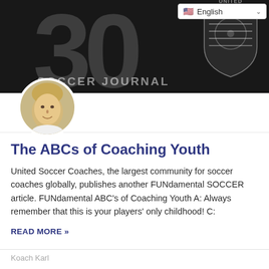[Figure (photo): Dark banner with large faded '30' numeral, 'SOCCER JOURNAL' text, and a United Soccer Coaches shield/crest logo on the right. A circular portrait photo of a blond middle-aged man is overlaid at the bottom-left of the banner.]
The ABCs of Coaching Youth
United Soccer Coaches, the largest community for soccer coaches globally, publishes another FUNdamental SOCCER article. FUNdamental ABC's of Coaching Youth A: Always remember that this is your players' only childhood! C:
READ MORE »
Koach Karl